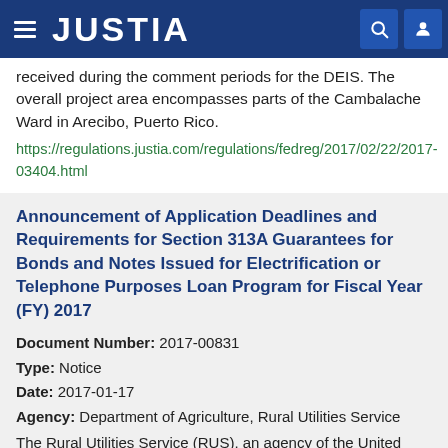JUSTIA
received during the comment periods for the DEIS. The overall project area encompasses parts of the Cambalache Ward in Arecibo, Puerto Rico.
https://regulations.justia.com/regulations/fedreg/2017/02/22/2017-03404.html
Announcement of Application Deadlines and Requirements for Section 313A Guarantees for Bonds and Notes Issued for Electrification or Telephone Purposes Loan Program for Fiscal Year (FY) 2017
Document Number: 2017-00831
Type: Notice
Date: 2017-01-17
Agency: Department of Agriculture, Rural Utilities Service
The Rural Utilities Service (RUS), an agency of the United States Department of Agriculture (USDA), announces